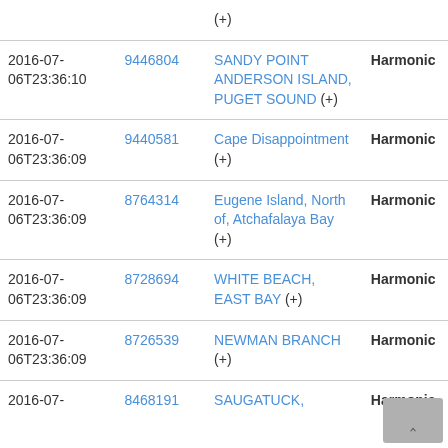| Date | ID | Name | Type |
| --- | --- | --- | --- |
|  |  | (+) |  |
| 2016-07-06T23:36:10 | 9446804 | SANDY POINT ANDERSON ISLAND, PUGET SOUND (+) | Harmonic |
| 2016-07-06T23:36:09 | 9440581 | Cape Disappointment (+) | Harmonic |
| 2016-07-06T23:36:09 | 8764314 | Eugene Island, North of, Atchafalaya Bay (+) | Harmonic |
| 2016-07-06T23:36:09 | 8728694 | WHITE BEACH, EAST BAY (+) | Harmonic |
| 2016-07-06T23:36:09 | 8726539 | NEWMAN BRANCH (+) | Harmonic |
| 2016-07- | 8468191 | SAUGATUCK, | Harmonic |